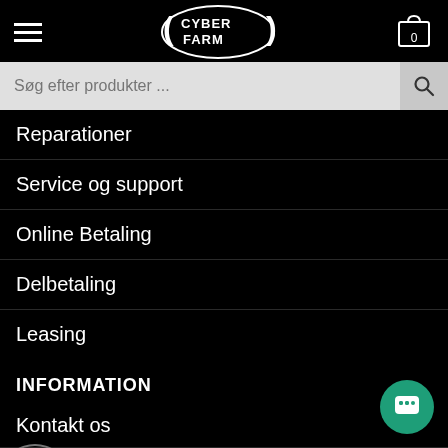CYBER FARM (logo with menu and cart)
Søg efter produkter ...
Reparationer
Service og support
Online Betaling
Delbetaling
Leasing
INFORMATION
Kontakt os
Om os
Events